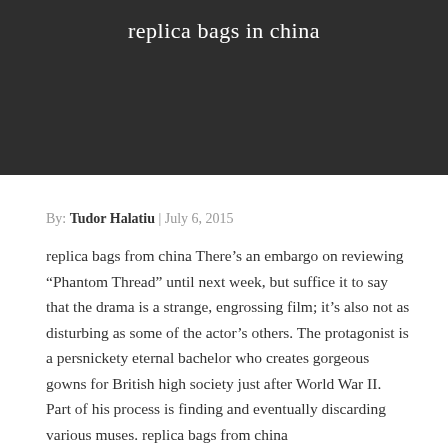[Figure (other): Dark header image with title text 'replica bags in china' on a dark/black background]
By: Tudor Halatiu | July 6, 2015
replica bags from china There's an embargo on reviewing “Phantom Thread” until next week, but suffice it to say that the drama is a strange, engrossing film; it’s also not as disturbing as some of the actor’s others. The protagonist is a persnickety eternal bachelor who creates gorgeous gowns for British high society just after World War II. Part of his process is finding and eventually discarding various muses. replica bags from china
best replica bags Most jobs don get such a pay raise